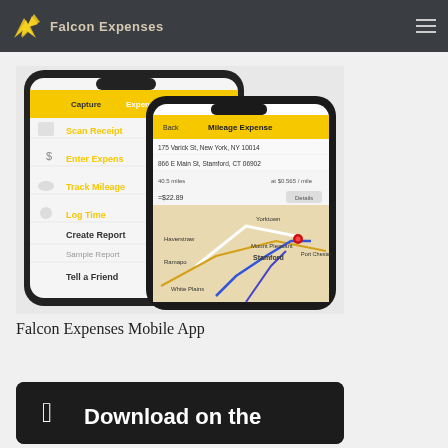Falcon Expenses
[Figure (screenshot): Two smartphone screenshots of the Falcon Expenses mobile app. Left phone shows menu with options: Scan Receipt, Enter Expense, Track Mileage, Log Time, Create Report, Sample Report, Tell a Friend. Right phone shows a Mileage Expense screen with route from 175 Varick St, New York, NY 10014 to 866 E Main St, Stamford, CT 06902, showing 40.5 miles at $0.565/mile = $22.89, with a map showing the route through Yorktown, Haverstraw, Ramapo, Mount Pleasant, Stamford, White Plains, Port Chester.]
Falcon Expenses Mobile App
[Figure (screenshot): Download on the App Store button with Apple logo icon on dark background]